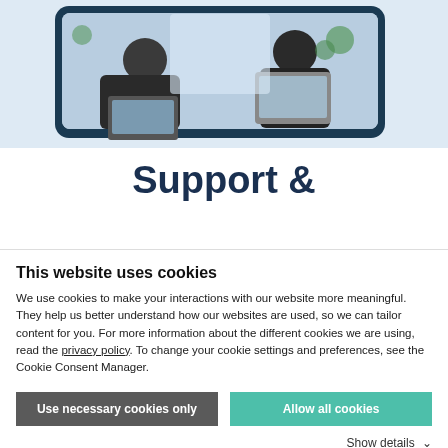[Figure (photo): Two people sitting by a window with laptops, framed in a dark navy blue rounded rectangle frame, on a light blue background.]
Support &
This website uses cookies
We use cookies to make your interactions with our website more meaningful. They help us better understand how our websites are used, so we can tailor content for you. For more information about the different cookies we are using, read the privacy policy. To change your cookie settings and preferences, see the Cookie Consent Manager.
Use necessary cookies only
Allow all cookies
Show details